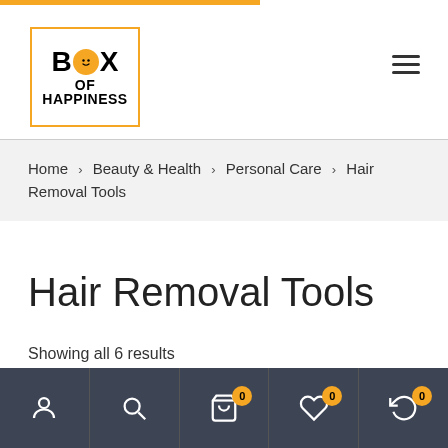[Figure (logo): Box of Happiness logo — yellow circle with smiley face between B and X letters, orange border box]
Home > Beauty & Health > Personal Care > Hair Removal Tools
Hair Removal Tools
Showing all 6 results
[Figure (other): Bottom navigation bar with user, search, cart (0), wishlist (0), and account/return (0) icons on dark background]